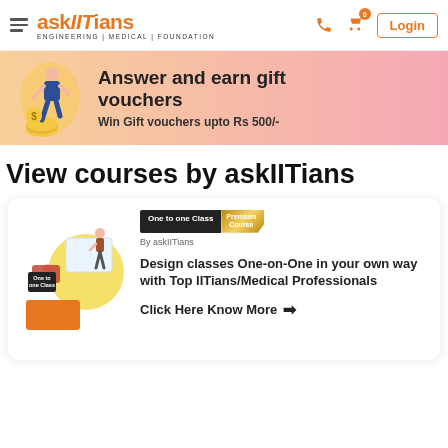askIITians — ENGINEERING | MEDICAL | FOUNDATION — Login
[Figure (illustration): Banner with person walking and coins illustration on gradient orange-pink background. Text: Answer and earn gift vouchers. Win Gift vouchers upto Rs 500/-]
Answer and earn gift vouchers
Win Gift vouchers upto Rs 500/-
View courses by askIITians
[Figure (illustration): Course card illustration showing a student with a blackboard and One to one Class badge with Premium Course ribbon, By askIITians label]
Design classes One-on-One in your own way with Top IITians/Medical Professionals
Click Here Know More →